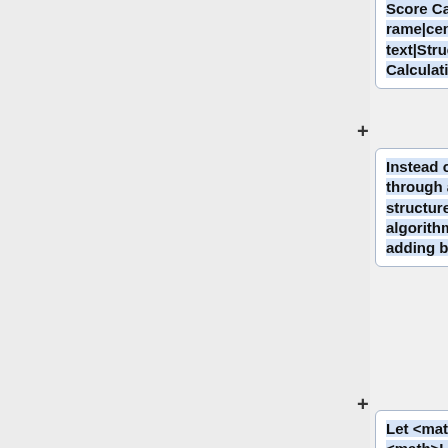Score Calculation.png|frame|center|alt=Alt text|Structure Score Calculation]]
Instead of enumerating through all possible tree structures q, a greedy algorithm of iteratively adding branches is used.<br>
Let <math>I_L</math> and <math>I_R</mat